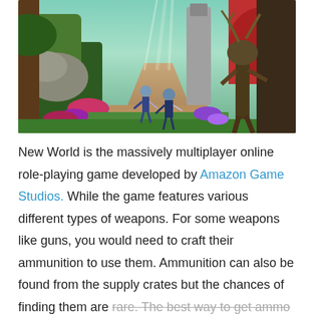[Figure (screenshot): Screenshot from New World MMORPG game showing two player characters facing a large creature boss in a lush forest environment with colorful flowers, rocks, and mystical lighting.]
New World is the massively multiplayer online role-playing game developed by Amazon Game Studios. While the game features various different types of weapons. For some weapons like guns, you would need to craft their ammunition to use them. Ammunition can also be found from the supply crates but the chances of finding them are rare. The best way to get ammo is by crafting them. Below you will find a complete guide on how to craft guns,